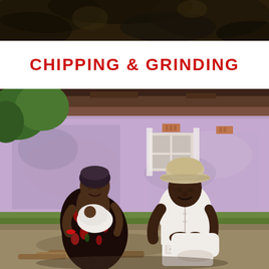[Figure (photo): Partial top image showing what appears to be foliage or texture, cropped at bottom edge of top section]
CHIPPING & GRINDING
[Figure (photo): Two people sitting outdoors in front of a purple/lavender painted concrete building. A woman on the left wearing a floral dress and head wrap holds a baby wrapped in white. A man on the right wearing a white shirt, white jeans, and a safari/bush hat sits smiling. Wooden logs are visible on the ground in front of them.]